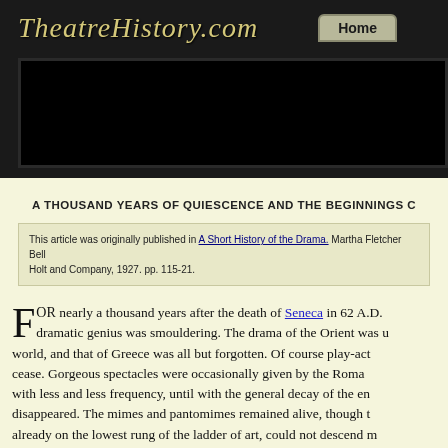TheatreHistory.com — Home
A THOUSAND YEARS OF QUIESCENCE AND THE BEGINNINGS C
This article was originally published in A Short History of the Drama. Martha Fletcher Bell... Holt and Company, 1927. pp. 115-21.
FOR nearly a thousand years after the death of Seneca in 62 A.D. dramatic genius was smouldering. The drama of the Orient was u... world, and that of Greece was all but forgotten. Of course play-act... cease. Gorgeous spectacles were occasionally given by the Roman... with less and less frequency, until with the general decay of the en... disappeared. The mimes and pantomimes remained alive, though t... already on the lowest rung of the ladder of art, could not descend m... Rome fell, yet merchants and porters and slaves required the Tired... entertainment. Small wandering companies, similar perhaps to the... Judy show, lived from hand to mouth, preserving after a fashion th...